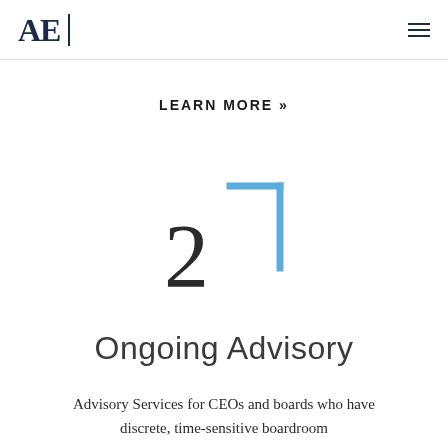AE
LEARN MORE »
[Figure (illustration): Large numeral '2' with a blue L-shaped bracket (top-right corner bracket) overlaid]
Ongoing Advisory
Advisory Services for CEOs and boards who have discrete, time-sensitive boardroom